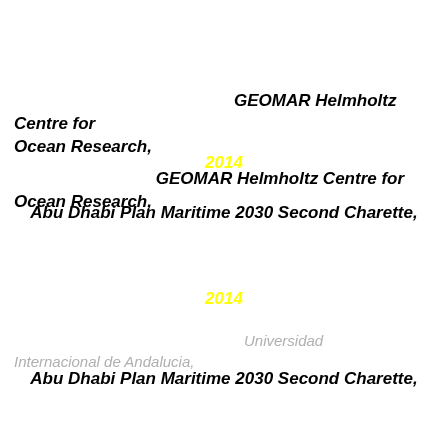GEOMAR Helmholtz Centre for Ocean Research,
2014
Abu Dhabi Plan Maritime 2030 Second Charette,
Universidad Internacional de Andalucia,